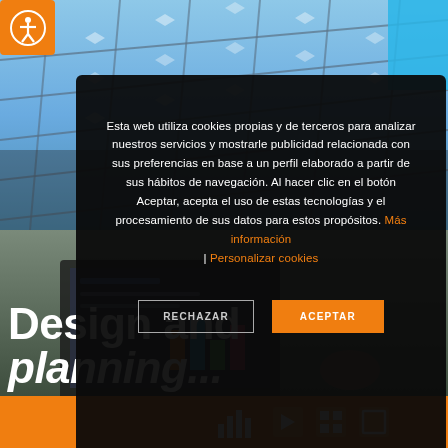[Figure (screenshot): Background showing solar panels on a building with blue sky, and a blue accent rectangle in the top-right corner.]
[Figure (illustration): Orange circle accessibility icon button with a human figure symbol, positioned at top-left.]
Esta web utiliza cookies propias y de terceros para analizar nuestros servicios y mostrarle publicidad relacionada con sus preferencias en base a un perfil elaborado a partir de sus hábitos de navegación. Al hacer clic en el botón Aceptar, acepta el uso de estas tecnologías y el procesamiento de sus datos para estos propósitos. Más información | Personalizar cookies
[Figure (screenshot): Two buttons: RECHAZAR (reject, dark outline) and ACEPTAR (accept, orange fill).]
Design and planning...
[Figure (infographic): Orange bottom bar with media control icons: bar chart / analytics icon, play button, grid/gallery icon, and square icon.]